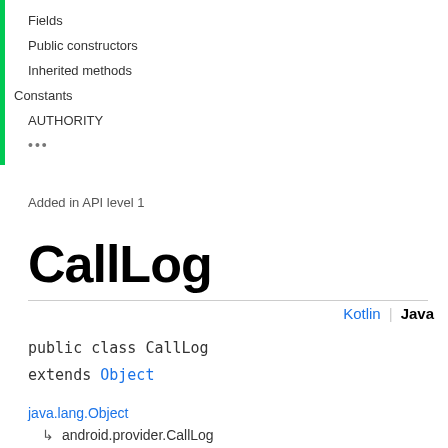Fields
Public constructors
Inherited methods
Constants
AUTHORITY
...
Added in API level 1
CallLog
Kotlin | Java
public class CallLog
extends Object
java.lang.Object
↳ android.provider.CallLog